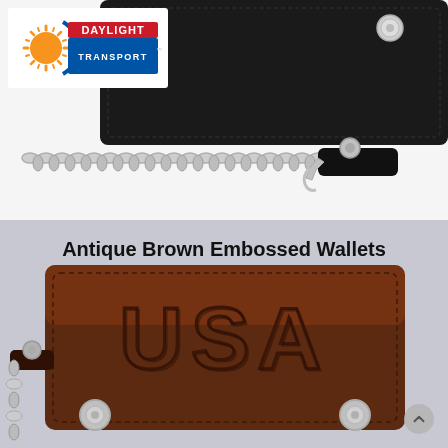[Figure (photo): Black leather biker wallet with snap closure (top corner visible) and a silver metal chain with leather belt loop attachment, on white background]
[Figure (logo): Daylight Transport logo: orange sun rays on left, blue circle arc, red and blue rectangular banner with 'DAYLIGHT TRANSPORT' text in white]
[Figure (photo): Antique brown embossed leather USA biker chain wallet with 'USA' letters embossed on front, two silver snaps, and silver chain attached to leather belt loop, on light gray background. Text overlay reads 'Antique Brown Embossed Wallets']
Antique Brown Embossed Wallets